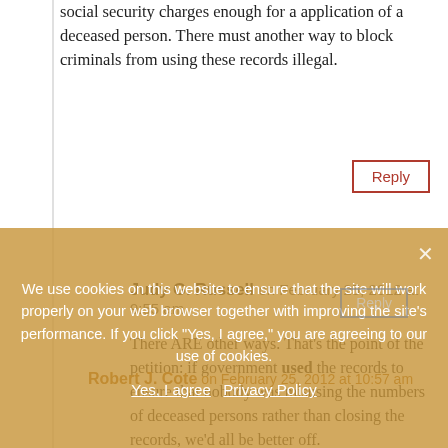social security charges enough for a application of a deceased person. There must another way to block criminals from using these records illegal.
Reply
Judy G. Russell on February 25, 2012 at 9:55 am
There ARE other ways. That’s the point of the petition: if government used the records to ensure that nobody was misusing the numbers of deceased persons rather than closing the records, we’d all be better off.
We use cookies on this website to ensure that the site will work properly on your web browser together with improving the site’s performance. If you click "Yes, I agree," you are agreeing to our use of cookies.
Yes, I agree   Privacy Policy
Robert J. Cote on February 25, 2012 at 10:57 am